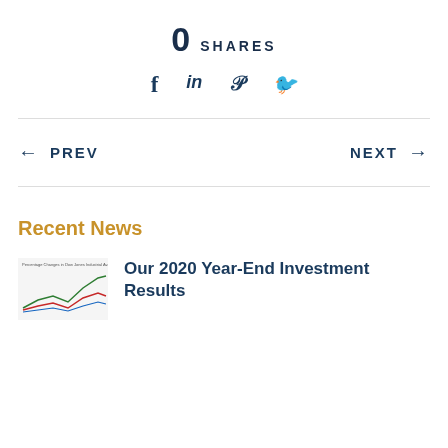0 SHARES
[Figure (infographic): Social share icons: Facebook (f), LinkedIn (in), Pinterest (p), Twitter bird icon]
← PREV
NEXT →
Recent News
[Figure (line-chart): Small thumbnail chart showing percentage changes in Dow Jones Industrial Average, with colored lines]
Our 2020 Year-End Investment Results